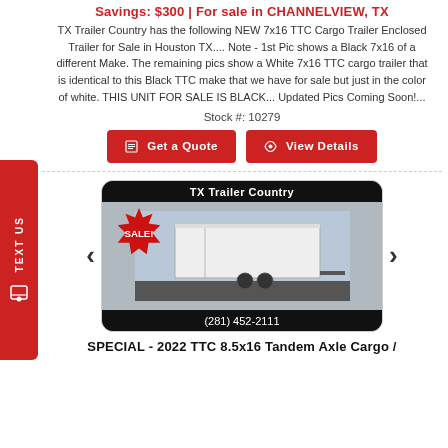Savings: $300 | For sale in CHANNELVIEW, TX
TX Trailer Country has the following NEW 7x16 TTC Cargo Trailer Enclosed Trailer for Sale in Houston TX.... Note - 1st Pic shows a Black 7x16 of a different Make. The remaining pics show a White 7x16 TTC cargo trailer that is identical to this Black TTC make that we have for sale but just in the color of white. THIS UNIT FOR SALE IS BLACK... Updated Pics Coming Soon!...
Stock #: 10279
Get a Quote
View Details
[Figure (photo): White enclosed cargo trailer with 'SALE!' badge and TX Trailer Country branding, phone number (281) 452-2111]
SPECIAL - 2022 TTC 8.5x16 Tandem Axle Cargo /